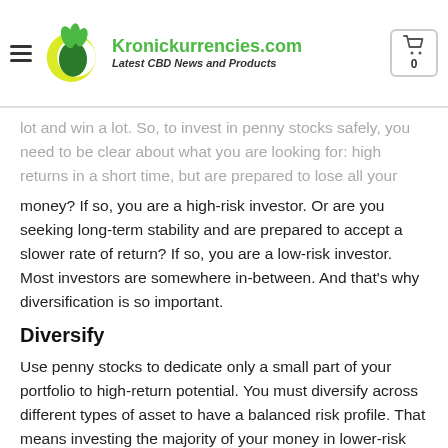Kronickurrencies.com – Latest CBD News and Products
money? If so, you are a high-risk investor. Or are you seeking long-term stability and are prepared to accept a slower rate of return? If so, you are a low-risk investor. Most investors are somewhere in-between. And that's why diversification is so important.
Diversify
Use penny stocks to dedicate only a small part of your portfolio to high-return potential. You must diversify across different types of asset to have a balanced risk profile. That means investing the majority of your money in lower-risk assets like Exchange-Traded Funds and large-cap stocks. Otherwise you stand to wipe out your portfolio.
Things to Consider Before Investing in Penny